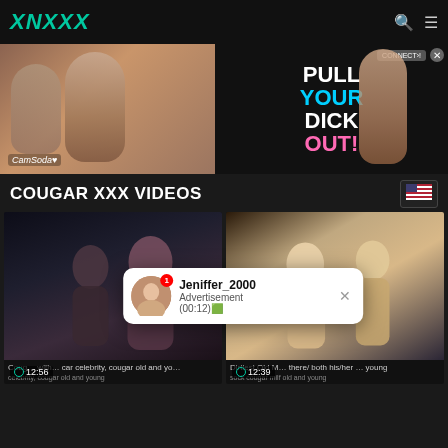XNXXX
[Figure (photo): Advertisement banner for CamSoda with text PULL YOUR DICK OUT]
COUGAR XXX VIDEOS
[Figure (screenshot): Video thumbnail - dark scene with two figures]
[Figure (screenshot): Video thumbnail - two people on couch]
12:56
12:39
Cougar ... with ... car celebrity, cougar old and yo...
Dirtiest Old M... there/both his/her ... young sock cougar milf old and young
Jeniffer_2000
Advertisement
(00:12)🟩